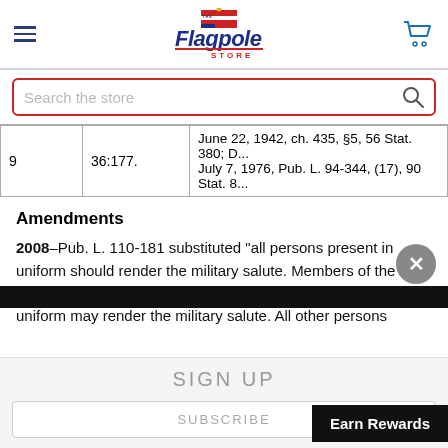The Flagpole Store — navigation and search bar
|  |  |  |
| --- | --- | --- |
| 9 | 36:177. | June 22, 1942, ch. 435, §5, 56 Stat. 380; D...
July 7, 1976, Pub. L. 94-344, (17), 90 Stat. 8... |
Amendments
2008–Pub. L. 110-181 substituted "all persons present in uniform should render the military salute. Members of the Armed Forces and veterans who are present but not in uniform may render the military salute. All other persons